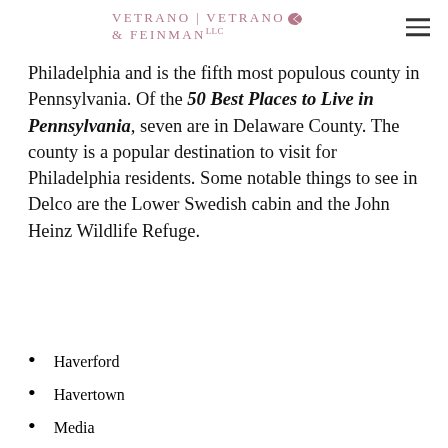VETRANO | VETRANO & FEINMAN LLC
Philadelphia and is the fifth most populous county in Pennsylvania. Of the 50 Best Places to Live in Pennsylvania, seven are in Delaware County. The county is a popular destination to visit for Philadelphia residents. Some notable things to see in Delco are the Lower Swedish cabin and the John Heinz Wildlife Refuge.
Haverford
Havertown
Media
Newtown
Radnor